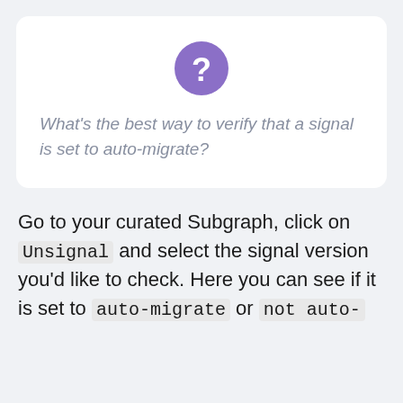[Figure (illustration): Purple circle with white question mark icon]
What's the best way to verify that a signal is set to auto-migrate?
Go to your curated Subgraph, click on Unsignal and select the signal version you'd like to check. Here you can see if it is set to auto-migrate or not auto-